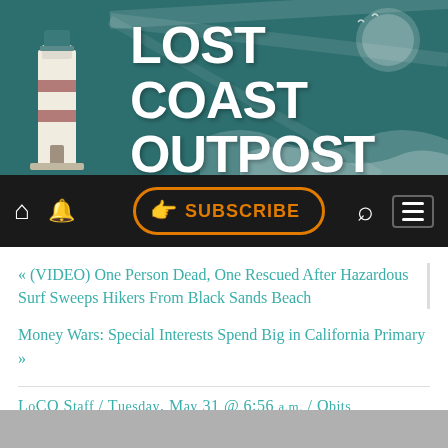[Figure (logo): Lost Coast Outpost website header banner with lighthouse logo and teal/dark background with wave design]
[Figure (screenshot): Navigation bar with home icon, bell icon, Subscribe button, search icon, and hamburger menu on dark background]
« (VIDEO) One Person Dead, One Rescued After Hazardous Surf Sweeps Hikers From Black Sands Beach
Money Wars: Special Interests Spend Big in California Primary »
LoCO Staff / Tuesday, May 31 @ 6:56 a.m. / Obits
OBITUARY: Karen Jeanne Johnson, 1952-2022